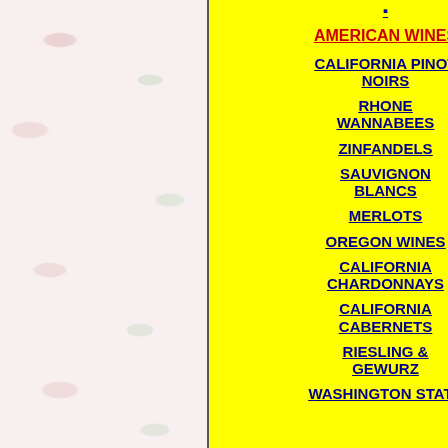AMERICAN WINES
CALIFORNIA PINOT NOIRS
RHONE WANNABEES
ZINFANDELS
SAUVIGNON BLANCS
MERLOTS
OREGON WINES
CALIFORNIA CHARDONNAYS
CALIFORNIA CABERNETS
RIESLING & GEWURZ
WASHINGTON STATE
I pe
[Figure (photo): Partial wine label or bottle image, cropped on right side]
5th Place:  R
Light cherry red in a touch of smokiness light to medium-bo